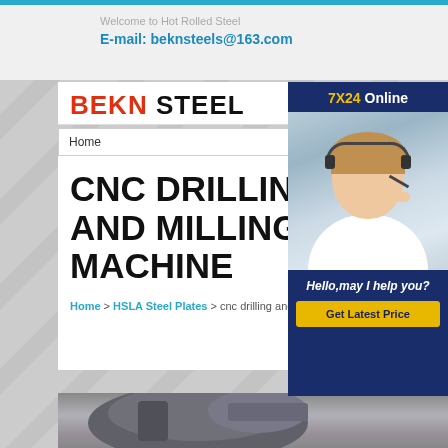Welcome to Hot Rolled Steel
E-mail: beknsteels@163.com
BEKN STEEL
Home
[Figure (photo): Customer service representative wearing headset, with '7X24 Online' banner and 'Hello, may I help you?' caption and 'Get Latest Price' button]
CNC DRILLING AND MILLING MACHINE
Home > HSLA Steel Plates > cnc drilling and milling machine
[Figure (photo): Partial view of a CNC drilling and milling machine, dark metallic machinery]